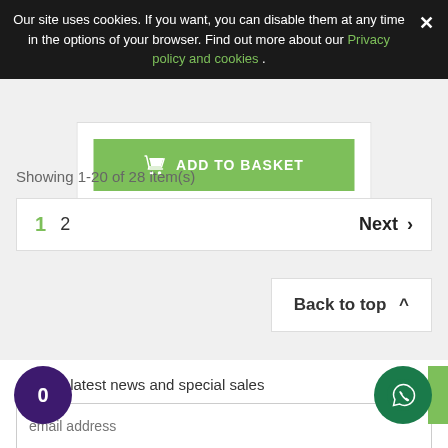Our site uses cookies. If you want, you can disable them at any time in the options of your browser. Find out more about our Privacy policy and cookies . ✕
[Figure (screenshot): Green 'ADD TO BASKET' button with shopping cart icon inside a white card panel]
Showing 1-20 of 28 item(s)
1  2  Next >
Back to top ^
Get our latest news and special sales
email address
You may unsubscribe at any moment. For that purpose, please find our contact info in the legal notice.